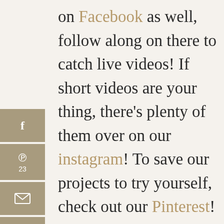on Facebook as well, follow along on there to catch live videos! If short videos are your thing, there's plenty of them over on our instagram! To save our projects to try yourself, check out our Pinterest!
23 SHARES